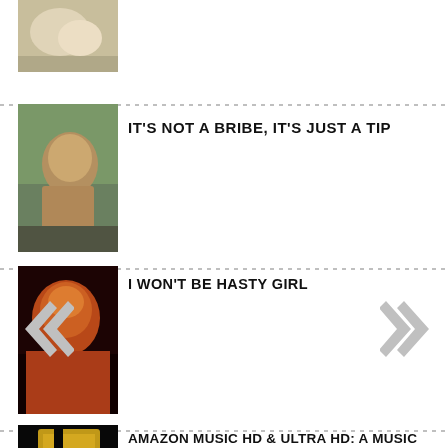[Figure (photo): Thumbnail image - animal or food scene at top]
[Figure (photo): Thumbnail image - man in uniform outdoors]
IT'S NOT A BRIBE, IT'S JUST A TIP
[Figure (photo): Thumbnail image - performer on stage]
I WON'T BE HASTY GIRL
[Figure (photo): Thumbnail image - guitarist performing]
AMAZON MUSIC HD & ULTRA HD: A MUSIC LOVERS FIRST REVIEW
[Figure (photo): Thumbnail image - guitar close-up]
BRITISH ROCK ROYALTY